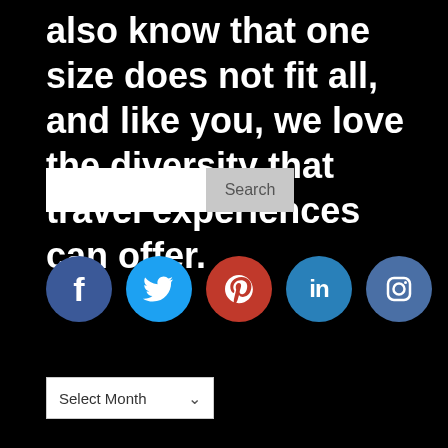also know that one size does not fit all, and like you, we love the diversity that travel experiences can offer.
[Figure (screenshot): Search bar with text input field on the left and 'Search' button on the right]
[Figure (infographic): Row of five social media icon circles: Facebook (dark blue, f), Twitter (light blue, bird), Pinterest (red, P), LinkedIn (blue, in), Instagram (dark blue, camera)]
[Figure (screenshot): Dropdown selector showing 'Select Month' with a chevron arrow on the right]